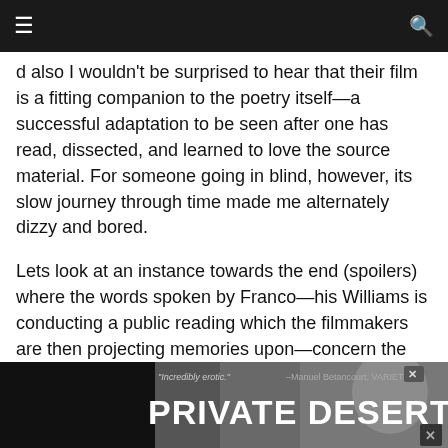≡  🔍
d also I wouldn't be surprised to hear that their film is a fitting companion to the poetry itself—a successful adaptation to be seen after one has read, dissected, and learned to love the source material. For someone going in blind, however, its slow journey through time made me alternately dizzy and bored.
Lets look at an instance towards the end (spoilers) where the words spoken by Franco—his Williams is conducting a public reading which the filmmakers are then projecting memories upon—concern the need to say goodbye to an old friend. Enter Zach Braff as Albert, a new character to the mix—and the only male figure seen as an equal to C.K. after a steady stream of feminine muses along the way—who has a mean cough for us to of course believe it's he who dies from some terminal illness all involved already know about. Lo and behold, however, Albert's final phlegm-throwing fit ends with him stating how he must have ate something that didn't agree with his stomach. Cut to a few minutes later and we watch the tearful death of Willia...
[Figure (screenshot): Advertisement banner at bottom: dark background with text '"Incredibly erotic." –Manuel Betancourt, VARIETY' and large white bold text 'PRIVATE DESERT' with a close-up image of a woman's face on the right side. X close buttons in top-right and bottom-right corners.]